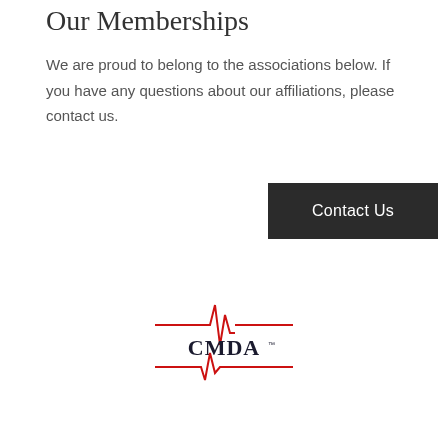Our Memberships
We are proud to belong to the associations below. If you have any questions about our affiliations, please contact us.
[Figure (other): Dark button reading 'Contact Us']
[Figure (logo): CMDA logo with red heartbeat/EKG line graphic and 'CMDA' text in dark serif font with trademark symbol]